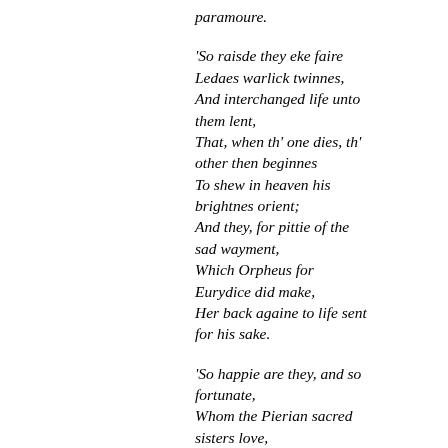paramoure.
'So raisde they eke faire Ledaes warlick twinnes, And interchanged life unto them lent, That, when th' one dies, th' other then beginnes To shew in heaven his brightnes orient; And they, for pittie of the sad wayment, Which Orpheus for Eurydice did make, Her back againe to life sent for his sake.
'So happie are they, and so fortunate, Whom the Pierian sacred sisters love, That freed from bands of impacable fate, And power of death, they live for eye above,